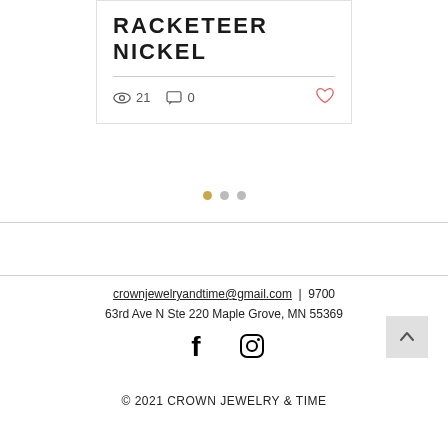RACKETEER NICKEL
👁 21   💬 0   ♡
[Figure (other): Pagination dots: one gold/filled, two gray]
crownjewelryandtime@gmail.com  |  9700 63rd Ave N Ste 220 Maple Grove, MN 55369
[Figure (other): Facebook and Instagram social media icons]
© 2021 CROWN JEWELRY & TIME